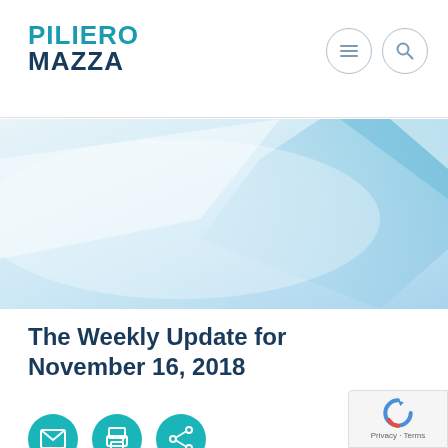PILIERO MAZZA
[Figure (illustration): Abstract blue and white gradient banner image with light geometric shapes and a soft highlight in the upper right corner.]
The Weekly Update for November 16, 2018
[Figure (infographic): Three teal circular action icon buttons: email/envelope icon, print/document icon, and share/network icon.]